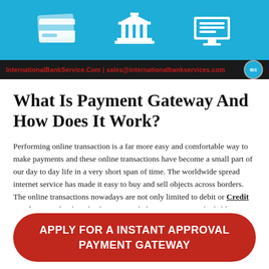[Figure (illustration): Blue header banner with three white icons: credit card, bank/building with pillars, and computer monitor with lines]
InternationalBankService.Com | sales@internationalbankservices.com
What Is Payment Gateway And How Does It Work?
Performing online transaction is a far more easy and comfortable way to make payments and these online transactions have become a small part of our day to day life in a very short span of time. The worldwide spread internet service has made it easy to buy and sell objects across borders. The online transactions nowadays are not only limited to debit or Credit Card Processing but also have expanded to payments methods like UPI, net banking, wallets, etc.
APPLY FOR A INSTANT APPROVAL PAYMENT GATEWAY